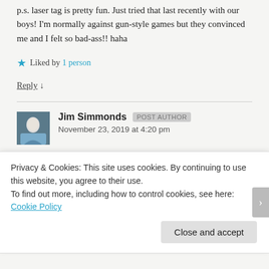p.s. laser tag is pretty fun. Just tried that last recently with our boys! I'm normally against gun-style games but they convinced me and I felt so bad-ass!! haha
★ Liked by 1 person
Reply ↓
Jim Simmonds  POST AUTHOR
November 23, 2019 at 4:20 pm
You need to be logged in to comment...
Privacy & Cookies: This site uses cookies. By continuing to use this website, you agree to their use.
To find out more, including how to control cookies, see here: Cookie Policy